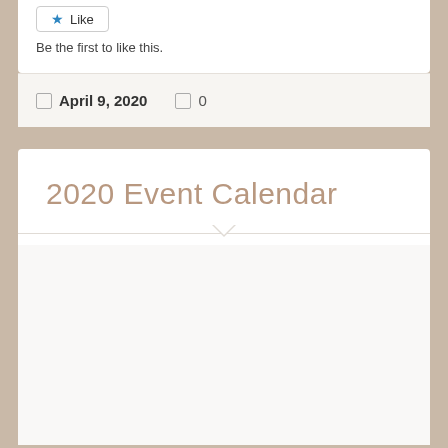Like
Be the first to like this.
April 9, 2020   0
2020 Event Calendar